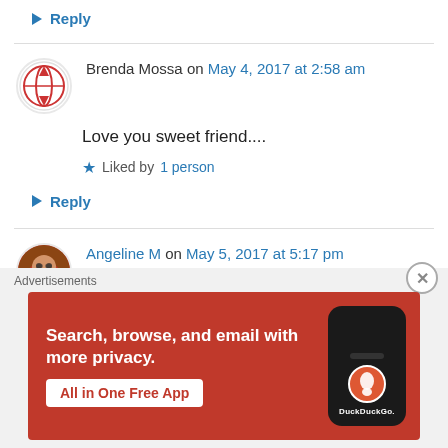↳ Reply
Brenda Mossa on May 4, 2017 at 2:58 am
Love you sweet friend....
★ Liked by 1 person
↳ Reply
Angeline M on May 5, 2017 at 5:17 pm
Ok, girlfriend, I didn't know about a couple of
Advertisements
[Figure (other): DuckDuckGo advertisement banner with text: Search, browse, and email with more privacy. All in One Free App. Shows a phone with DuckDuckGo logo.]